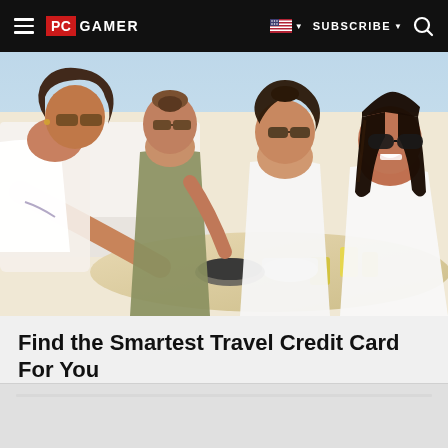PC GAMER | SUBSCRIBE
[Figure (photo): Four young women sitting outdoors on a sunny day, sharing food and laughing. One woman in a white top leans over a pan to serve food. They are wearing sunglasses and appear to be on a boat or terrace with drinks on the table.]
Find the Smartest Travel Credit Card For You
NerdWallet | Sponsored